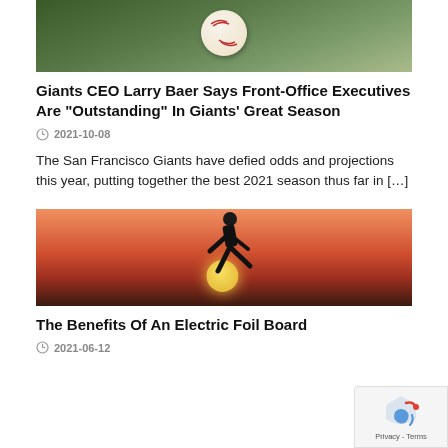[Figure (photo): Baseball on green grass, cropped view from above]
Giants CEO Larry Baer Says Front-Office Executives Are “Outstanding” In Giants’ Great Season
2021-10-08
The San Francisco Giants have defied odds and projections this year, putting together the best 2021 season thus far in […]
[Figure (photo): Athlete running against a sunset background]
The Benefits Of An Electric Foil Board
2021-06-12